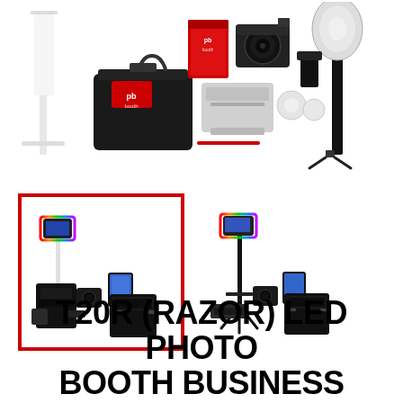[Figure (photo): Photo booth business bundle product spread showing carrying case, DSLR camera, printer, lighting equipment, white backdrop stand, and accessories arranged together]
[Figure (photo): Selected thumbnail (red border): T20R Razor LED photo booth with white stand, black case, camera, and tablet display. Second thumbnail: same T20R Razor LED photo booth with black tripod stand variant.]
T20R (RAZOR) LED PHOTO BOOTH BUSINESS BUNDLE